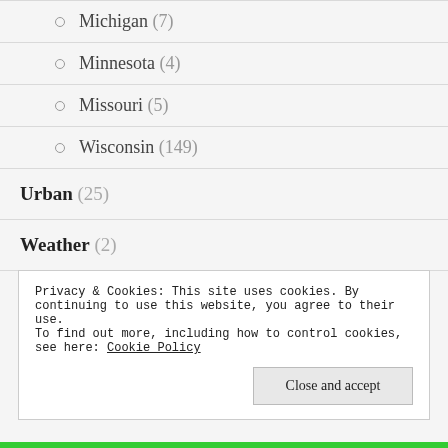Michigan (7)
Minnesota (4)
Missouri (5)
Wisconsin (149)
Urban (25)
Weather (2)
Women (59)
Privacy & Cookies: This site uses cookies. By continuing to use this website, you agree to their use.
To find out more, including how to control cookies, see here: Cookie Policy
Close and accept